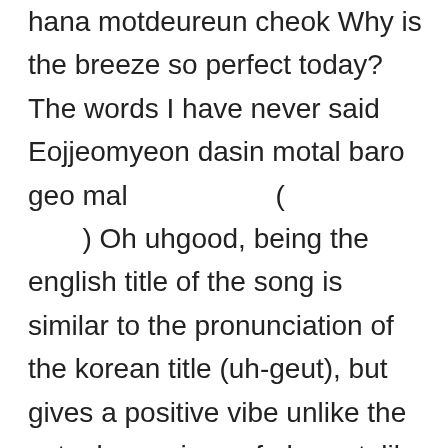hana motdeureun cheok Why is the breeze so perfect today? The words I have never said Eojjeomyeon dasin motal baro geo mal                    ( ) Oh uhgood, being the english title of the song is similar to the pronunciation of the korean title (uh-geut), but gives a positive vibe unlike the actual meanings of uh-geut, like "being off" (being off between the ideal and the reality of self according to the lyrics) or a little bit not quite getting to the goal. Hanbeondo motaetdeonmal The words I have never said I smile a little